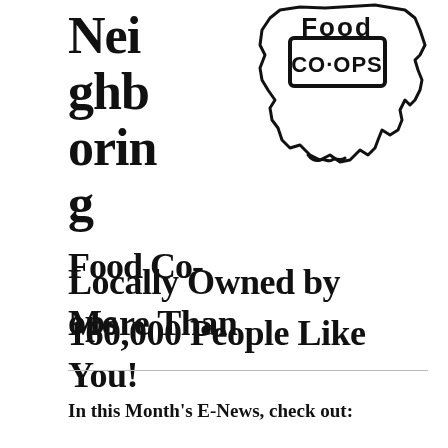Neighboring Food Co-ops
[Figure (logo): Food Co-ops logo showing stylized text 'Food CO-OPS' inside a rectangle with a map outline shape of Louisiana/Midwest region]
Locally Owned by More Than 160,000 People Like You!
In this Month's E-News, check out: